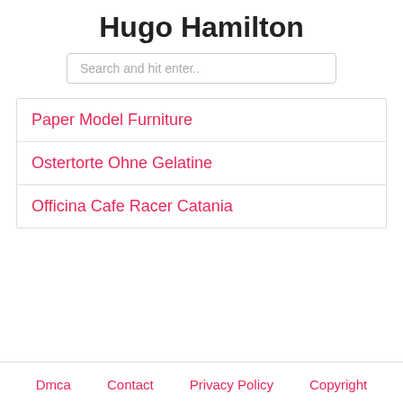Hugo Hamilton
Search and hit enter..
Paper Model Furniture
Ostertorte Ohne Gelatine
Officina Cafe Racer Catania
Dmca   Contact   Privacy Policy   Copyright